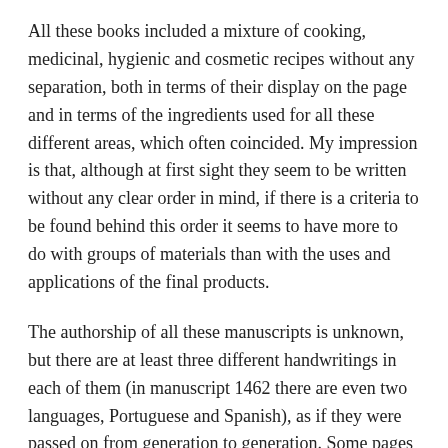All these books included a mixture of cooking, medicinal, hygienic and cosmetic recipes without any separation, both in terms of their display on the page and in terms of the ingredients used for all these different areas, which often coincided. My impression is that, although at first sight they seem to be written without any clear order in mind, if there is a criteria to be found behind this order it seems to have more to do with groups of materials than with the uses and applications of the final products.
The authorship of all these manuscripts is unknown, but there are at least three different handwritings in each of them (in manuscript 1462 there are even two languages, Portuguese and Spanish), as if they were passed on from generation to generation. Some pages are left blank in between recipes, as if to encourage further annotations prompted by the experience of each new practitioner. While most recipes involve the manipulation of a list of ingredients, there are also some “oration recipes”, like this “Prayer to St...